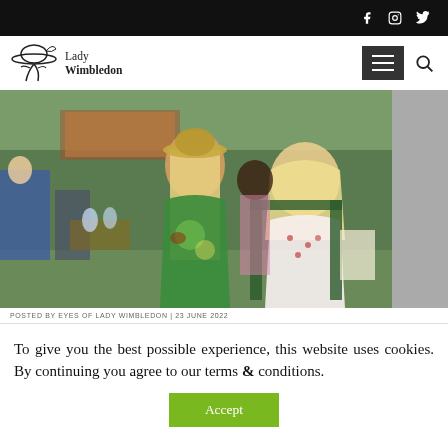Social media icons: Facebook, Instagram, Twitter
[Figure (logo): Lady Wimbledon logo with illustrated lady in hat and text 'Lady Wimbledon']
[Figure (photo): Two women at an outdoor Wimbledon event; one in green floral dress, one in polka dot dress sitting on a chair, smiling]
POSTED BY EYES OF LADY WIMBLEDON | 23 JUNE 2022
To give you the best possible experience, this website uses cookies. By continuing you agree to our terms & conditions.
Accept